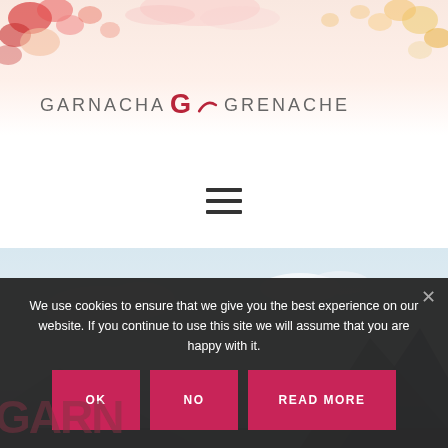[Figure (illustration): Floral watercolor header with pink, red, orange and yellow flowers/leaves on white background]
GARNACHA G GRENACHE
[Figure (other): Hamburger menu icon (three horizontal lines)]
[Figure (photo): Landscape photo showing mountains and cloudy sky]
We use cookies to ensure that we give you the best experience on our website. If you continue to use this site we will assume that you are happy with it.
OK
NO
READ MORE